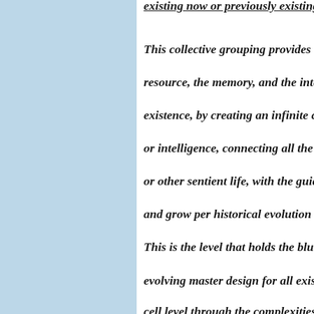existing now or previously existing, resi...
This collective grouping provides the cr... resource, the memory, and the intelligen... existence, by creating an infinite consci... or intelligence, connecting all the souls... or other sentient life, with the guidance... and grow per historical evolution and le... This is the level that holds the blueprint... evolving master design for all existence... cell level through the complexities of hu...
I believe, as did Emerson, that we are... to tap into this wisdom by entering int... silence, asking for guidance, and just l... allowing this consciousness to express... us without edit, by letting it convey.